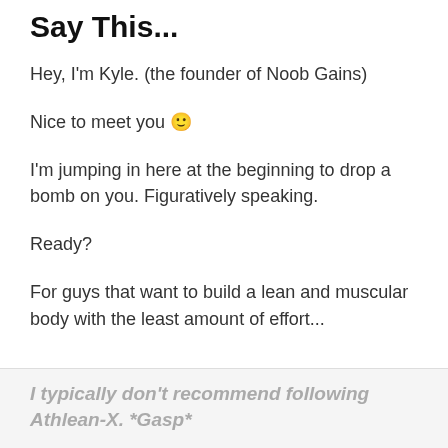Say This...
Hey, I'm Kyle. (the founder of Noob Gains)
Nice to meet you 🙂
I'm jumping in here at the beginning to drop a bomb on you. Figuratively speaking.
Ready?
For guys that want to build a lean and muscular body with the least amount of effort...
I typically don't recommend following Athlean-X. *Gasp*